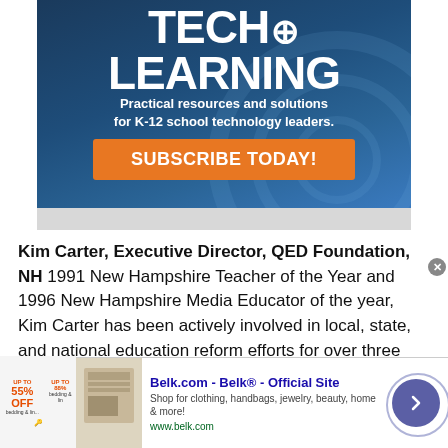[Figure (illustration): Tech & Learning magazine advertisement banner with dark blue background. Shows 'TECH & LEARNING' title in large white bold text, tagline 'Practical resources and solutions for K-12 school technology leaders.' and an orange 'SUBSCRIBE TODAY!' button.]
Kim Carter, Executive Director, QED Foundation, NH 1991 New Hampshire Teacher of the Year and 1996 New Hampshire Media Educator of the year, Kim Carter has been actively involved in local, state, and national education reform efforts for over three decades, providing training, coaching, and facilitati...
[Figure (screenshot): Belk.com advertisement banner at bottom of page showing 'Belk.com - Belk® - Official Site' with shopping description and www.belk.com URL, product thumbnail image, and navigation arrow button.]